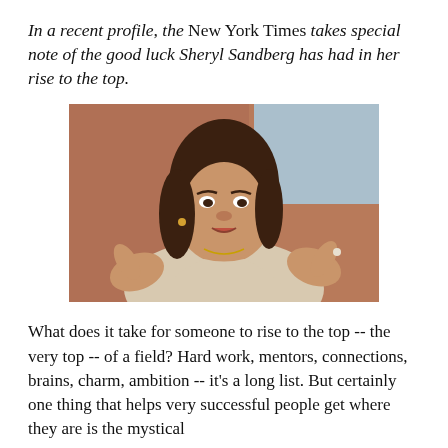In a recent profile, the New York Times takes special note of the good luck Sheryl Sandberg has had in her rise to the top.
[Figure (photo): Photograph of Sheryl Sandberg gesturing with both hands raised, wearing a light-colored cardigan, with a building background.]
What does it take for someone to rise to the top -- the very top -- of a field? Hard work, mentors, connections, brains, charm, ambition -- it's a long list. But certainly one thing that helps very successful people get where they are is the mystical